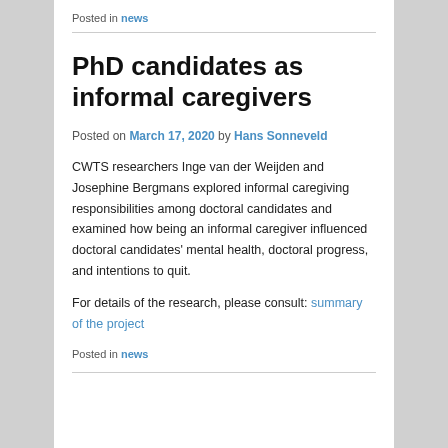Posted in news
PhD candidates as informal caregivers
Posted on March 17, 2020 by Hans Sonneveld
CWTS researchers Inge van der Weijden and Josephine Bergmans explored informal caregiving responsibilities among doctoral candidates and examined how being an informal caregiver influenced doctoral candidates' mental health, doctoral progress, and intentions to quit.
For details of the research, please consult: summary of the project
Posted in news